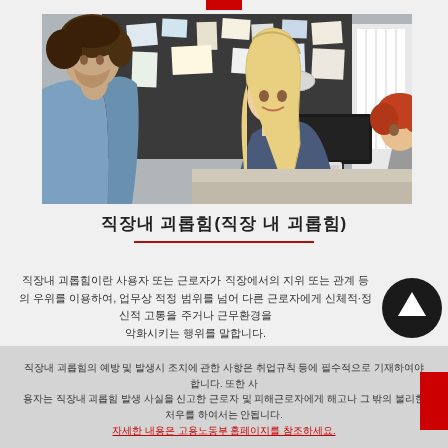[Figure (photo): Three people in an office/creative workspace setting. A man with curly hair on the left in a denim jacket faces a smiling blonde woman in the center. A red-haired woman sits in the background on the right. A bulletin board with papers and a desk lamp are visible.]
직장내 괴롭힘(직장 내 괴롭힘)
직장내 괴롭힘이란 사용자 또는 근로자가 직장에서의 지위 또는 관계 등의 우위를 이용하여, 업무상 적정 범위를 넘어 다른 근로자에게 신체적·정신적 고통을 주거나 근무환경을 악화시키는 행위를 말합니다.
직장내 괴롭힘의 예방 및 발생시 조치에 관한 사항은 취업규칙 등에 필수적으로 기재하여야 합니다. 또한 사용자는 직장내 괴롭힘 발생 사실을 신고한 근로자 및 피해근로자에게 해고나 그 밖의 불리한 처우를 하여서는 안됩니다.
자세한 내용은 고용노동부 홈페이지를 참조하세요.